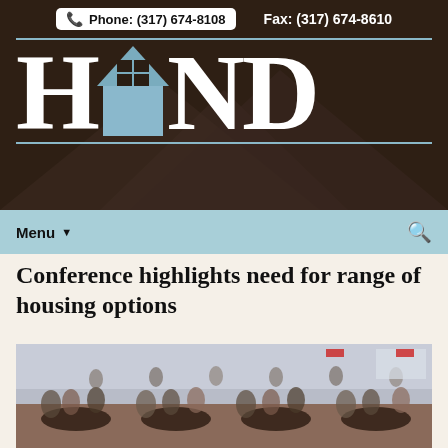Phone: (317) 674-8108    Fax: (317) 674-8610
[Figure (logo): HAND organization logo — large white serif letters spelling HAND with a light blue house icon replacing the letter A, on a dark brown background with horizontal teal lines above and below the letters]
Menu
Conference highlights need for range of housing options
[Figure (photo): Large conference room filled with attendees seated at round tables, people networking and listening at a housing conference event]